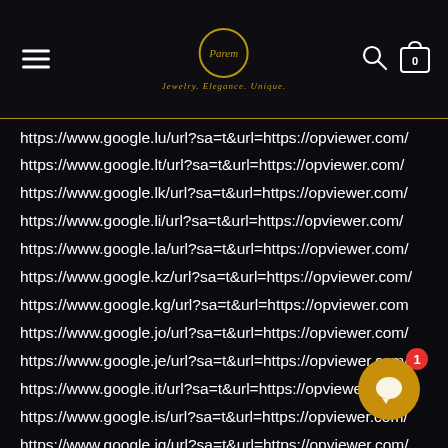Parem — Jewelry, Elegance, Unique. Navigation header with hamburger menu, logo, search, and cart icons.
https://www.google.lu/url?sa=t&url=https://opviewer.com/
https://www.google.lt/url?sa=t&url=https://opviewer.com/
https://www.google.lk/url?sa=t&url=https://opviewer.com/
https://www.google.li/url?sa=t&url=https://opviewer.com/
https://www.google.la/url?sa=t&url=https://opviewer.com/
https://www.google.kz/url?sa=t&url=https://opviewer.com/
https://www.google.kg/url?sa=t&url=https://opviewer.com
https://www.google.jo/url?sa=t&url=https://opviewer.com/
https://www.google.je/url?sa=t&url=https://opviewer.com/
https://www.google.it/url?sa=t&url=https://opviewer.com/
https://www.google.is/url?sa=t&url=https://opviewer.com/
https://www.google.iq/url?sa=t&url=https://opviewer.com/
https://www.google.ie/url?sa=t&url=https://opviewer.com/
https://www.google.hu/url?sa=t&url=https://opviewer.com
https://www.google.ht/url?sa=t&url=https://opviewer.com.
https://www.google.hr/url?sa=t&url=https://opviewer.com.
https://www.google.hn/url?sa=t&url=https://opviewer.com/